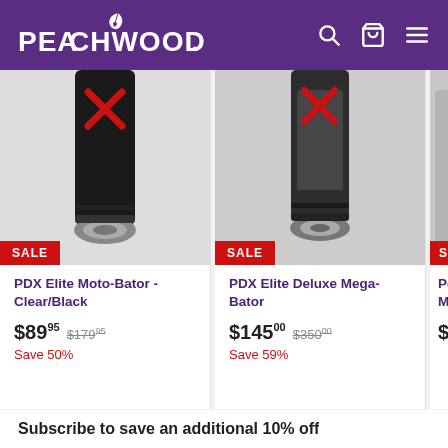Peachwood
[Figure (photo): PDX Elite Moto-Bator product image, black tube with red X mark, with SALE badge]
PDX Elite Moto-Bator - Clear/Black
$89.95  $179.95  Save 50%
[Figure (photo): PDX Elite Deluxe Mega-Bator product image, clear/dark tube with red X mark, with SALE badge]
PDX Elite Deluxe Mega-Bator
$145.00  $350.00  Save 59%
[Figure (photo): Partial third product image with SALE badge, price $3.60 visible]
Peach Massa...
$3.60
Subscribe to save an additional 10% off